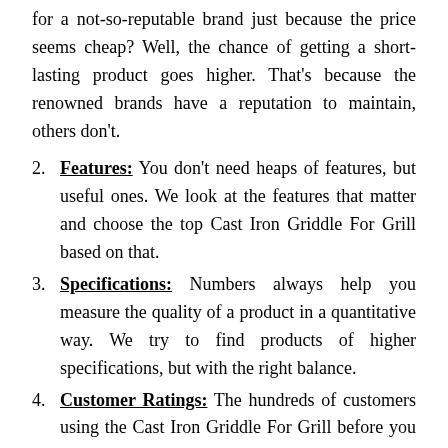for a not-so-reputable brand just because the price seems cheap? Well, the chance of getting a short-lasting product goes higher. That's because the renowned brands have a reputation to maintain, others don't.
Features: You don't need heaps of features, but useful ones. We look at the features that matter and choose the top Cast Iron Griddle For Grill based on that.
Specifications: Numbers always help you measure the quality of a product in a quantitative way. We try to find products of higher specifications, but with the right balance.
Customer Ratings: The hundreds of customers using the Cast Iron Griddle For Grill before you won't say wrong, would